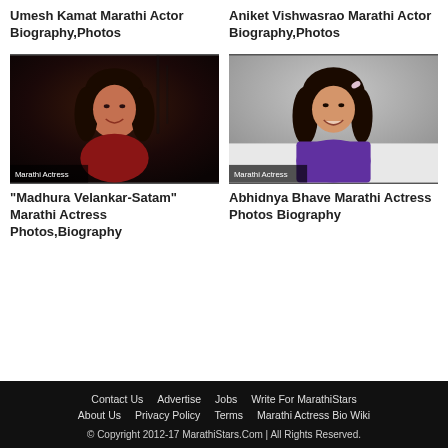Umesh Kamat Marathi Actor Biography,Photos
Aniket Vishwasrao Marathi Actor Biography,Photos
[Figure (photo): Madhura Velankar-Satam Marathi Actress photo with dark background, woman with long hair smiling, label 'Marathi Actress']
“Madhura Velankar-Satam” Marathi Actress Photos,Biography
[Figure (photo): Abhidnya Bhave Marathi Actress photo with grey background, young woman in purple top smiling, label 'Marathi Actress']
Abhidnya Bhave Marathi Actress Photos Biography
Contact Us   Advertise   Jobs   Write For MarathiStars   About Us   Privacy Policy   Terms   Marathi Actress Bio Wiki   © Copyright 2012-17 MarathiStars.Com | All Rights Reserved.